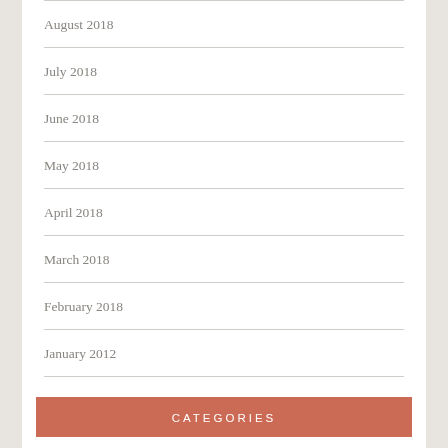August 2018
July 2018
June 2018
May 2018
April 2018
March 2018
February 2018
January 2012
CATEGORIES